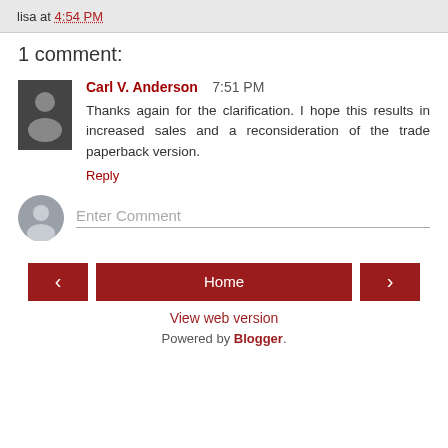lisa at 4:54 PM
1 comment:
Carl V. Anderson  7:51 PM
Thanks again for the clarification. I hope this results in increased sales and a reconsideration of the trade paperback version.
Reply
Enter Comment
< Home > View web version Powered by Blogger.